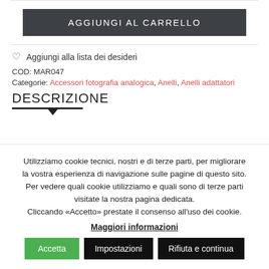AGGIUNGI AL CARRELLO
♡ Aggiungi alla lista dei desideri
COD: MAR047
Categorie: Accessori fotografia analogica, Anelli, Anelli adattatori
DESCRIZIONE
Utilizziamo cookie tecnici, nostri e di terze parti, per migliorare la vostra esperienza di navigazione sulle pagine di questo sito. Per vedere quali cookie utilizziamo e quali sono di terze parti visitate la nostra pagina dedicata. Cliccando «Accetto» prestate il consenso all'uso dei cookie.
Maggiori informazioni
Accetta
Impostazioni
Rifiuta e continua